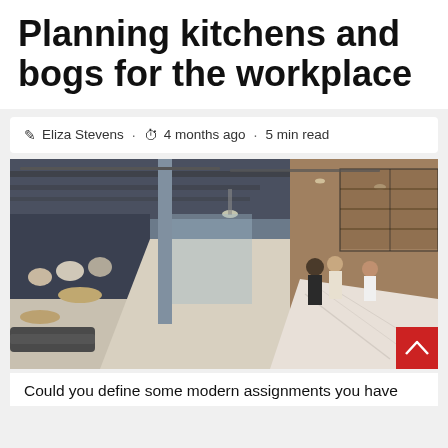Planning kitchens and bogs for the workplace
✎ Eliza Stevens · ⏱ 4 months ago · 5 min read
[Figure (photo): Interior photograph of a modern open-plan workplace kitchen and dining area with exposed ceiling ducts, marble island counter, staff and diners, wood accents, and large windows.]
Could you define some modern assignments you have